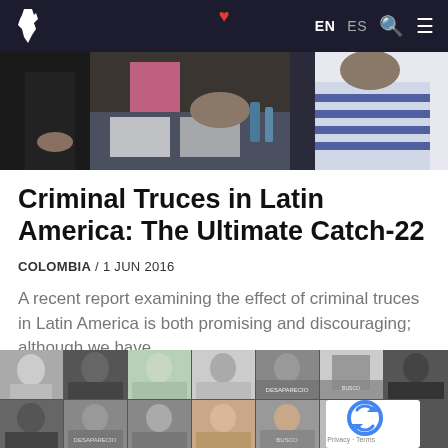EN ES
[Figure (photo): People at a table shaking hands, a crowd scene related to criminal truces in Latin America]
Criminal Truces in Latin America: The Ultimate Catch-22
COLOMBIA / 1 JUN 2016
A recent report examining the effect of criminal truces in Latin America is both promising and discouraging; although we have...
[Figure (photo): A grid of black and white ID-style photos of individuals, some with Spanish text overlays including 'DESAPARECIO' and 'BUSCO']